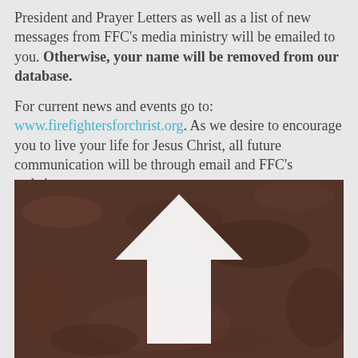President and Prayer Letters as well as a list of new messages from FFC's media ministry will be emailed to you. Otherwise, your name will be removed from our database.

For current news and events go to: www.firefightersforchrist.org. As we desire to encourage you to live your life for Jesus Christ, all future communication will be through email and FFC's website.
[Figure (photo): A white painted upward-pointing arrow on dark asphalt pavement, viewed from above.]